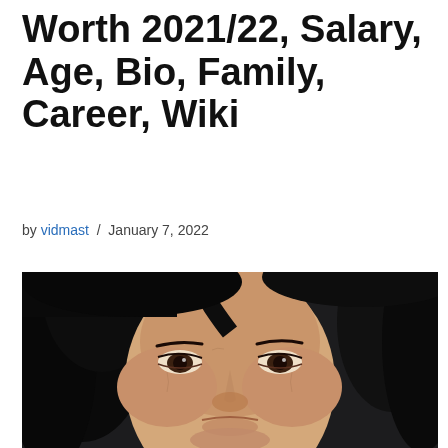Worth 2021/22, Salary, Age, Bio, Family, Career, Wiki
by vidmast / January 7, 2022
[Figure (photo): Close-up portrait photo of a middle-aged woman with dark black hair, looking slightly upward, against a dark background.]